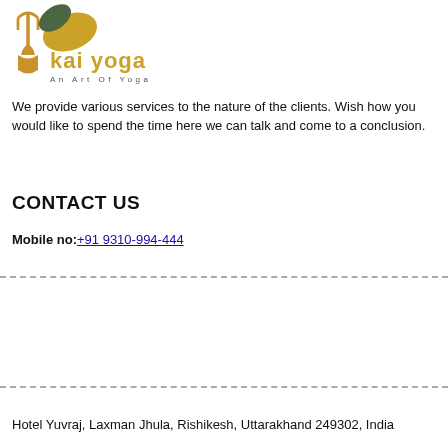[Figure (logo): Kai Yoga logo with trident symbol, leaf/plant motif in green and gold, text 'kai yoga' in gold and dark, tagline 'An Art Of Yoga']
We provide various services to the nature of the clients. Wish how you would like to spend the time here we can talk and come to a conclusion.
CONTACT US
Mobile no: +91 9310-994-444
Hotel Yuvraj, Laxman Jhula, Rishikesh, Uttarakhand 249302, India